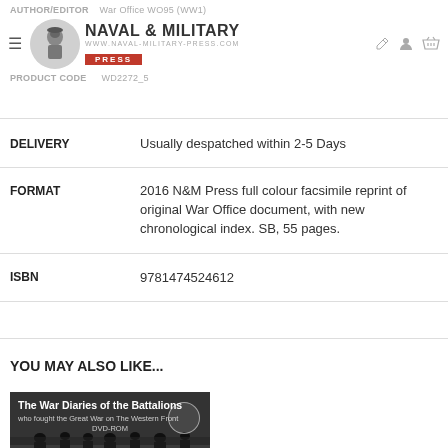AUTHOR/EDITOR  War Office WO95 (WW1)   PRODUCT CODE  WD2272_5
[Figure (logo): Naval & Military Press logo with soldier illustration]
| Field | Value |
| --- | --- |
| DELIVERY | Usually despatched within 2-5 Days |
| FORMAT | 2016 N&M Press full colour facsimile reprint of original War Office document, with new chronological index. SB, 55 pages. |
| ISBN | 9781474524612 |
YOU MAY ALSO LIKE...
[Figure (photo): Product image for The War Diaries of the Battalions who fought the Great War on The Western Front DVD-ROM, showing soldiers in black and white]